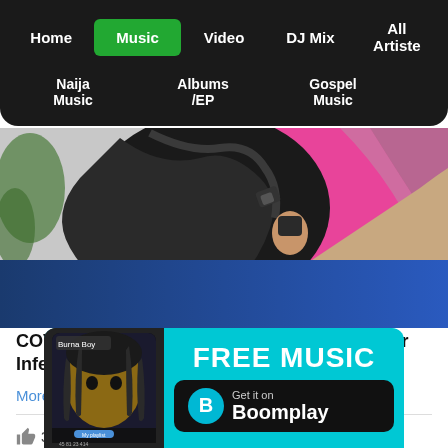Home | Music | Video | DJ Mix | All Artiste | Naija Music | Albums /EP | Gospel Music
[Figure (photo): Close-up photo of a person seen from behind, with dark curly hair pulled up, wearing a white top, against a bright pink background.]
COVID-19 Patients Experience Hair Loss After Infection
More...
395   99   132
[Figure (photo): Advertisement banner for Boomplay music app. Shows a phone screenshot with Burna Boy, text FREE MUSIC and Get it on Boomplay with Boomplay logo.]